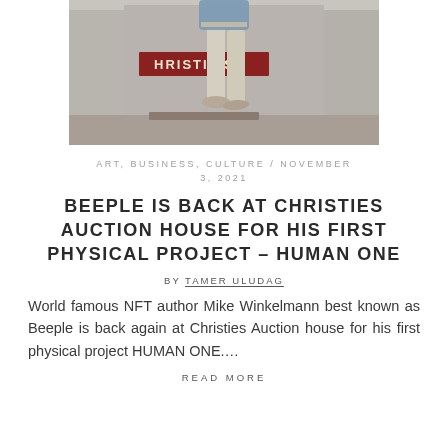[Figure (photo): Photo of a person's legs walking in front of a Christie's auction house entrance with a red Christie's sign visible]
ART, BUSINESS, CULTURE / NOVEMBER 3, 2021
BEEPLE IS BACK AT CHRISTIES AUCTION HOUSE FOR HIS FIRST PHYSICAL PROJECT – HUMAN ONE
BY TAMER ULUDAG
World famous NFT author Mike Winkelmann best known as Beeple is back again at Christies Auction house for his first physical project HUMAN ONE....
READ MORE